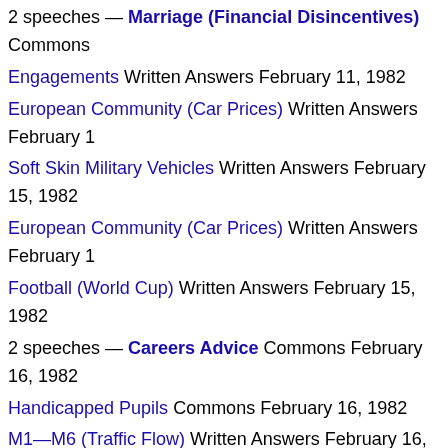2 speeches — Marriage (Financial Disincentives) Commons
Engagements Written Answers February 11, 1982
European Community (Car Prices) Written Answers February 1
Soft Skin Military Vehicles Written Answers February 15, 1982
European Community (Car Prices) Written Answers February 1
Football (World Cup) Written Answers February 15, 1982
2 speeches — Careers Advice Commons February 16, 1982
Handicapped Pupils Commons February 16, 1982
M1—M6 (Traffic Flow) Written Answers February 16, 1982
2 speeches — Canada Bill Commons February 17, 1982
Hyde Park (Violent Crimes) Written Answers February 17, 198
European Community (Agriculture Ministers' Meeting) Commo